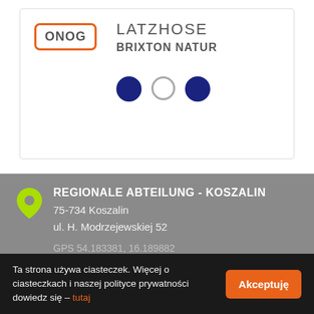[Figure (screenshot): Product listing with ONOG badge in orange border, product name LATZHOSE, subtitle BRIXTON NATUR, and three color selection dots (filled blue, gray outline, filled navy)]
REGIONALE ABTEILUNG - KOSZALIN
75-734 Koszalin
ul. H. Modrzejewskiej 52
GPS 54.183381, 16.189882
REGIONALE ABTEILUNG - RUDA ŚLĄSKA
41-707 Ruda Śląska
Ta strona używa ciasteczek. Więcej o ciasteczkach i naszej polityce prywatności dowiedz się – tutaj
Akceptuję